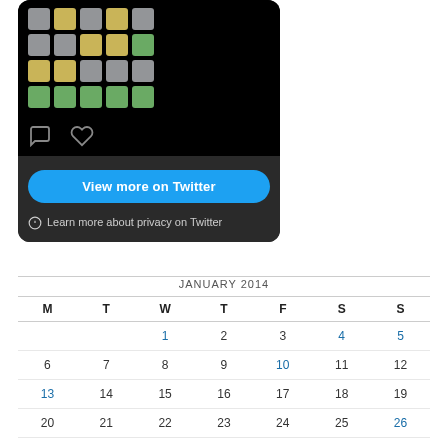[Figure (screenshot): Twitter embedded widget showing a Wordle game result grid with colored tiles (gray, yellow, green), social icons (comment, heart), a 'View more on Twitter' button, and a privacy notice at the bottom. Dark background.]
| M | T | W | T | F | S | S |
| --- | --- | --- | --- | --- | --- | --- |
|  |  | 1 | 2 | 3 | 4 | 5 |
| 6 | 7 | 8 | 9 | 10 | 11 | 12 |
| 13 | 14 | 15 | 16 | 17 | 18 | 19 |
| 20 | 21 | 22 | 23 | 24 | 25 | 26 |